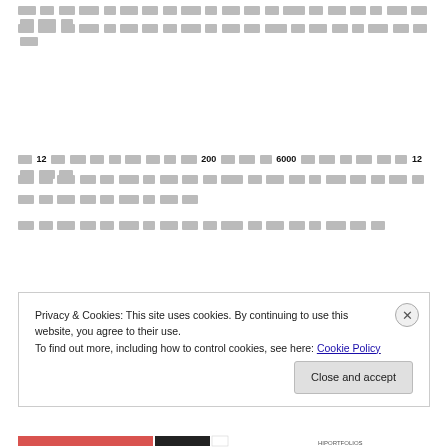[Thai text line 1 - redacted/blurred]
[Thai text line 2 - redacted/blurred]
[Thai text with numbers 12, 200, 6000, 12]
[Thai text continuation]
[Thai text short line]
[Thai text short paragraph]
Privacy & Cookies: This site uses cookies. By continuing to use this website, you agree to their use.
To find out more, including how to control cookies, see here: Cookie Policy
Close and accept